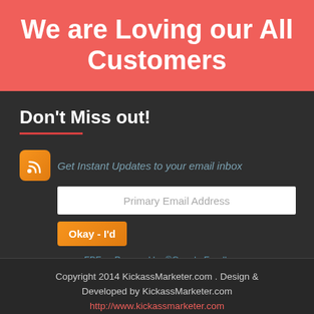We are Loving our All Customers
Don't Miss out!
Get Instant Updates to your email inbox
Primary Email Address
Okay - I'd
FBF · Powered by ®Google Feedburner
Copyright 2014 KickassMarketer.com . Design & Developed by KickassMarketer.com http://www.kickassmarketer.com